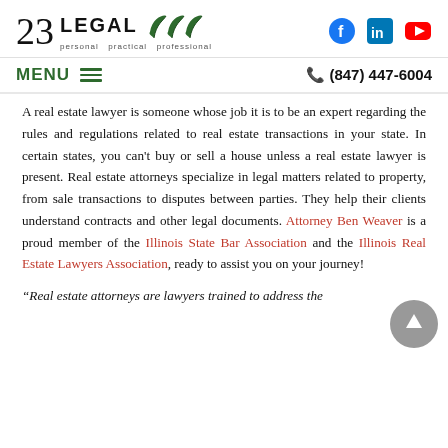[Figure (logo): 23 LEGAL logo with green leaf icons and tagline 'personal practical professional']
[Figure (logo): Social media icons: Facebook, LinkedIn, YouTube]
MENU ≡    ✆ (847) 447-6004
A real estate lawyer is someone whose job it is to be an expert regarding the rules and regulations related to real estate transactions in your state. In certain states, you can't buy or sell a house unless a real estate lawyer is present. Real estate attorneys specialize in legal matters related to property, from sale transactions to disputes between parties. They help their clients understand contracts and other legal documents. Attorney Ben Weaver is a proud member of the Illinois State Bar Association and the Illinois Real Estate Lawyers Association, ready to assist you on your journey!
“Real estate attorneys are lawyers trained to address the